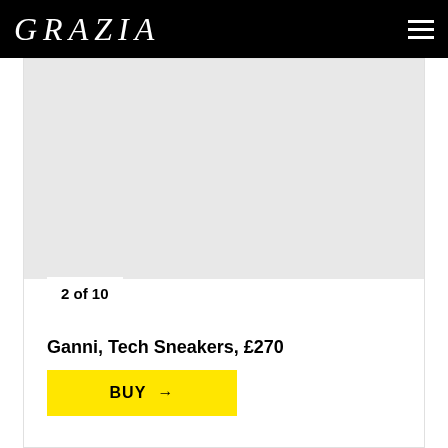GRAZIA
[Figure (photo): Light grey product image placeholder area for Ganni Tech Sneakers]
2 of 10
Ganni, Tech Sneakers, £270
BUY →
www.ganni.com